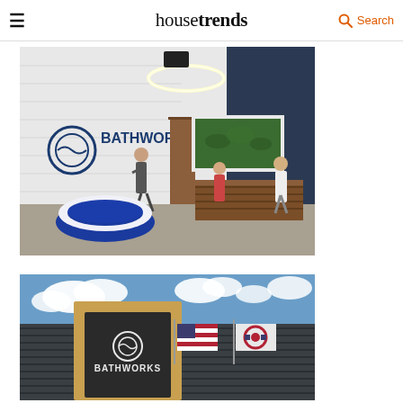housetrends | Search
[Figure (photo): Interior of Bathworks showroom featuring the Bathworks logo on a white textured wall, a freestanding blue and white bathtub, a wooden reception desk, green moss wall art, an oval ring ceiling light, and people in the space.]
[Figure (photo): Exterior of Bathworks building showing the Bathworks logo on dark facade with wood-framed entrance, an American flag and Ohio state flag hanging on the corrugated metal wall, with blue sky and clouds in background.]